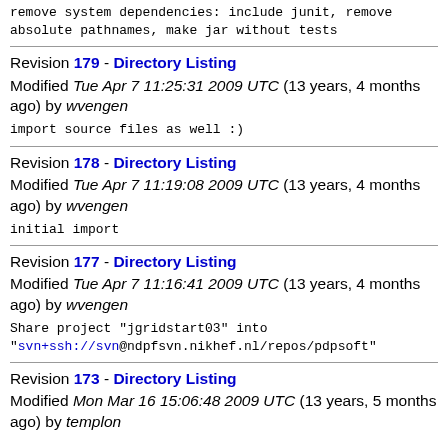remove system dependencies: include junit, remove absolute pathnames, make jar without tests
Revision 179 - Directory Listing
Modified Tue Apr 7 11:25:31 2009 UTC (13 years, 4 months ago) by wvengen
import source files as well :)
Revision 178 - Directory Listing
Modified Tue Apr 7 11:19:08 2009 UTC (13 years, 4 months ago) by wvengen
initial import
Revision 177 - Directory Listing
Modified Tue Apr 7 11:16:41 2009 UTC (13 years, 4 months ago) by wvengen
Share project "jgridstart03" into "svn+ssh://svn@ndpfsvn.nikhef.nl/repos/pdpsoft"
Revision 173 - Directory Listing
Modified Mon Mar 16 15:06:48 2009 UTC (13 years, 5 months ago) by templon